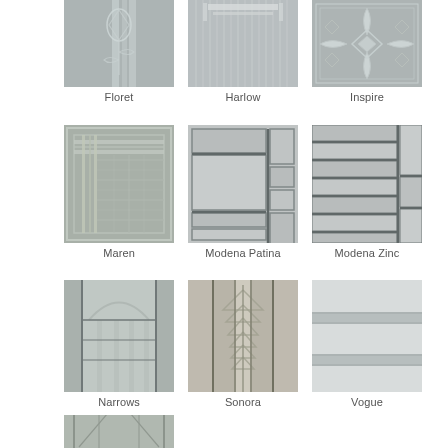[Figure (illustration): Decorative glass panel named Floret with floral etched pattern]
Floret
[Figure (illustration): Decorative glass panel named Harlow with geometric rectangular pattern]
Harlow
[Figure (illustration): Decorative glass panel named Inspire with ornate leaf/flower motif]
Inspire
[Figure (illustration): Decorative glass panel named Maren with geometric grid/prairie style pattern]
Maren
[Figure (illustration): Decorative glass panel named Modena Patina with modern rectangular textured pattern]
Modena Patina
[Figure (illustration): Decorative glass panel named Modena Zinc with horizontal banded pattern]
Modena Zinc
[Figure (illustration): Decorative glass panel named Narrows with vertical column and arch pattern]
Narrows
[Figure (illustration): Decorative glass panel named Sonora with chevron/wheat stalk pattern]
Sonora
[Figure (illustration): Decorative glass panel named Vogue with simple frosted horizontal stripe pattern]
Vogue
[Figure (illustration): Decorative glass panel (partial, cut off at bottom) with geometric Art Deco pattern]